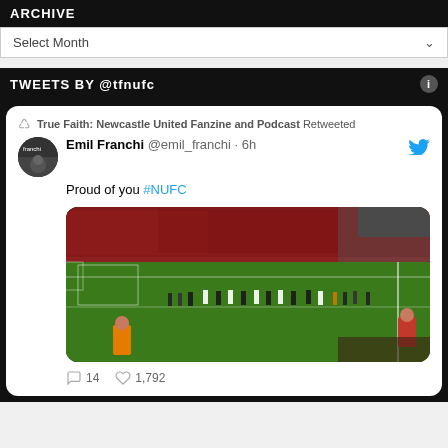ARCHIVE
Select Month
TWEETS BY @tfnufc
True Faith: Newcastle United Fanzine and Podcast Retweeted
Emil Franchi @emil_franchi · 6h
Proud of you #NUFC
[Figure (photo): Football stadium photo showing Newcastle United players on the pitch applauding fans, with a packed crowd in the background. Stewards in orange vests visible in foreground.]
14  1,792